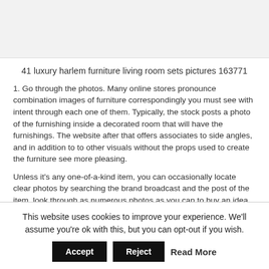[Figure (photo): Image placeholder area at top of page, light gray background]
41 luxury harlem furniture living room sets pictures 163771
1. Go through the photos. Many online stores pronounce combination images of furniture correspondingly you must see with intent through each one of them. Typically, the stock posts a photo of the furnishing inside a decorated room that will have the furnishings. The website after that offers associates to side angles, and in addition to to other visuals without the props used to create the furniture see more pleasing.
Unless it's any one-of-a-kind item, you can occasionally locate clear photos by searching the brand broadcast and the post of the item. look through as numerous photos as you can to buy an idea of what the furniture might look afterward at your residence.
This website uses cookies to improve your experience. We'll assume you're ok with this, but you can opt-out if you wish.